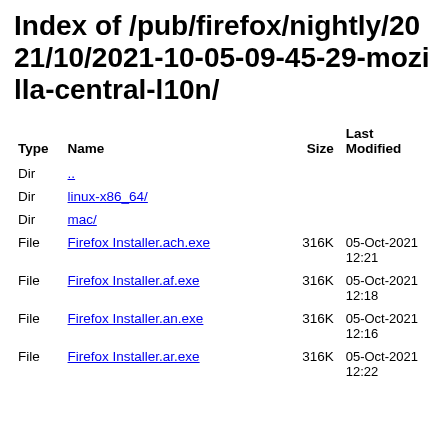Index of /pub/firefox/nightly/2021/10/2021-10-05-09-45-29-mozilla-central-l10n/
| Type | Name | Size | Last Modified |
| --- | --- | --- | --- |
| Dir | .. |  |  |
| Dir | linux-x86_64/ |  |  |
| Dir | mac/ |  |  |
| File | Firefox Installer.ach.exe | 316K | 05-Oct-2021 12:21 |
| File | Firefox Installer.af.exe | 316K | 05-Oct-2021 12:18 |
| File | Firefox Installer.an.exe | 316K | 05-Oct-2021 12:16 |
| File | Firefox Installer.ar.exe | 316K | 05-Oct-2021 12:22 |